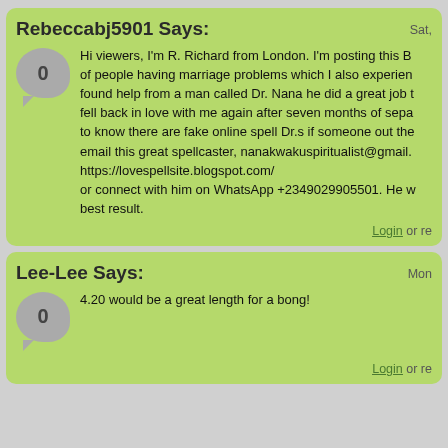Rebeccabj5901 Says: Sat, — Hi viewers, I'm R. Richard from London. I'm posting this B... of people having marriage problems which I also experien... found help from a man called Dr. Nana he did a great job t... fell back in love with me again after seven months of sepa... to know there are fake online spell Dr.s if someone out the... email this great spellcaster, nanakwakuspiritualist@gmail.... https://lovespellsite.blogspot.com/ or connect with him on WhatsApp +2349029905501. He w... best result.
Lee-Lee Says: Mon, — 4.20 would be a great length for a bong!